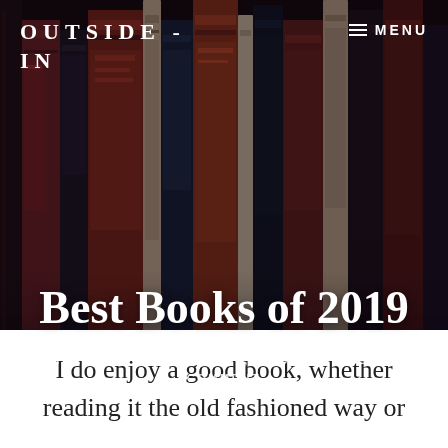OUTSIDE-IN
≡ MENU
[Figure (photo): Dark-toned artistic photo of book spines on a shelf, stylized with deep red and navy tones.]
Best Books of 2019
CHINA LIFE / DECEMBER 30, 2019 by JO / LEAVE A COMMENT
I do enjoy a good book, whether reading it the old fashioned way or